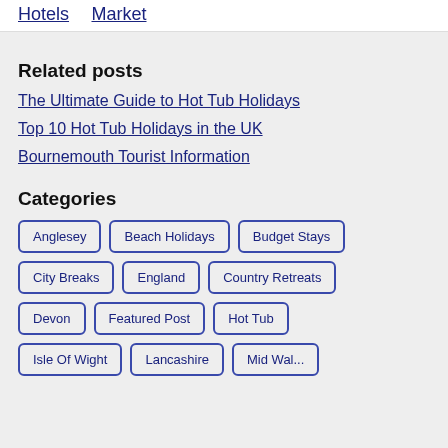Hotels   Market
Related posts
The Ultimate Guide to Hot Tub Holidays
Top 10 Hot Tub Holidays in the UK
Bournemouth Tourist Information
Categories
Anglesey
Beach Holidays
Budget Stays
City Breaks
England
Country Retreats
Devon
Featured Post
Hot Tub
Isle Of Wight
Lancashire
Mid Wales